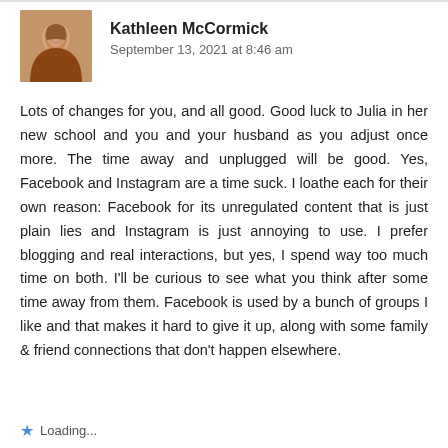Kathleen McCormick
September 13, 2021 at 8:46 am
Lots of changes for you, and all good. Good luck to Julia in her new school and you and your husband as you adjust once more. The time away and unplugged will be good. Yes, Facebook and Instagram are a time suck. I loathe each for their own reason: Facebook for its unregulated content that is just plain lies and Instagram is just annoying to use. I prefer blogging and real interactions, but yes, I spend way too much time on both. I'll be curious to see what you think after some time away from them. Facebook is used by a bunch of groups I like and that makes it hard to give it up, along with some family & friend connections that don't happen elsewhere.
Loading...